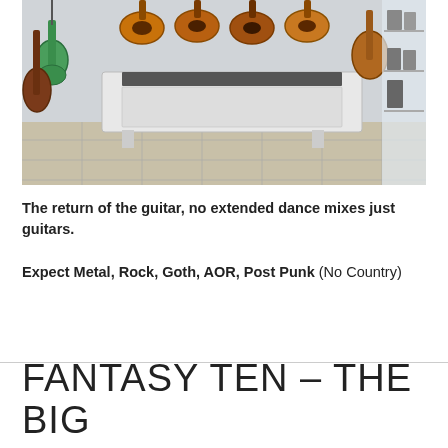[Figure (photo): Interior of a music store showing guitars hanging on the wall, including electric guitars in green, brown, and sunburst finishes, and a white keyboard/piano unit in the center foreground on a tiled floor.]
The return of the guitar, no extended dance mixes just guitars.
Expect Metal, Rock, Goth, AOR, Post Punk (No Country)
FANTASY TEN – THE BIG